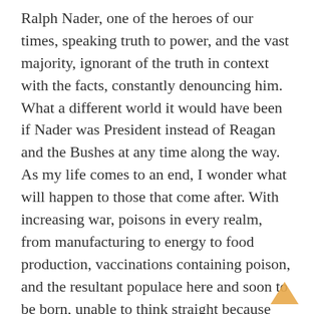Ralph Nader, one of the heroes of our times, speaking truth to power, and the vast majority, ignorant of the truth in context with the facts, constantly denouncing him. What a different world it would have been if Nader was President instead of Reagan and the Bushes at any time along the way. As my life comes to an end, I wonder what will happen to those that come after. With increasing war, poisons in every realm, from manufacturing to energy to food production, vaccinations containing poison, and the resultant populace here and soon to be born, unable to think straight because their brains have been permanently pickled, where will this country be in just one more decade? We need Bernie Sanders to slow the pace to the dismantling of American Society and the Constitution. Who else is out there to take up the banner? Bernie, Nader and a few young ones, including Senator Elizabeth